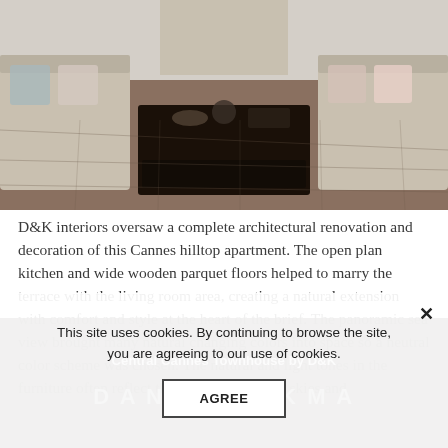[Figure (photo): Interior living room photo showing two beige sofas flanking a dark wooden rectangular coffee table on a parquet floor. Decorative items on the table, cushions on sofas.]
D&K interiors oversaw a complete architectural renovation and decoration of this Cannes hilltop apartment. The open plan kitchen and wide wooden parquet floors helped to marry the terrace with the living room area, creating a natural extension with comfort and style at the heart of the brief. The panoramic sea view brought many natural changing colors into space so a neutral color scheme was chosen. The natural and light tones in the furniture often reflect the Cote d'Azur blue skies and magnificent pink sunsets.
This site uses cookies. By continuing to browse the site, you are agreeing to our use of cookies.
AGREE
Central Cannes Townhouse by D&K